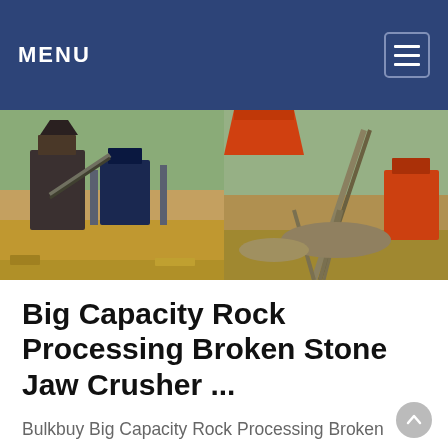MENU
[Figure (photo): Two industrial stone crusher / rock processing plant photos side by side showing heavy machinery, conveyor belts, and equipment in an outdoor quarry setting]
Big Capacity Rock Processing Broken Stone Jaw Crusher ...
Bulkbuy Big Capacity Rock Processing Broken Stone Jaw Crusher Primary Price price comparison, get China Big Capacity Rock Processing Broken Stone Jaw Crusher Primary Price price comparison from Rock Crusher, Quarry Crusher manufacturers & suppliers on Video Channel of Made-in-China .